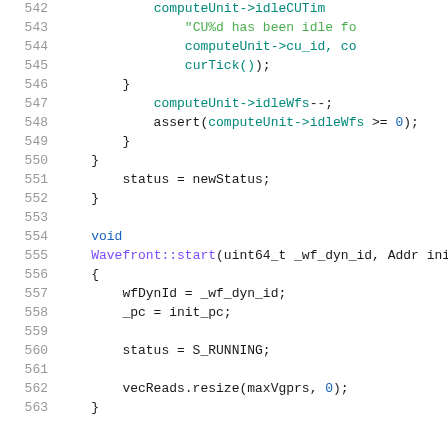[Figure (screenshot): Source code listing lines 542-563 of a C++ file showing Wavefront class methods, with line numbers on the left, syntax-highlighted code on the right]